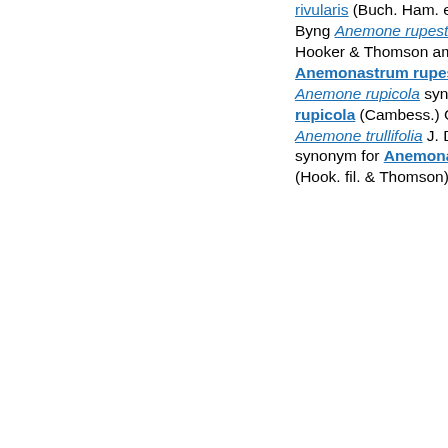rivularis (Buch. Ham. ex DC.) Christenh. & Byng Anemone rupestris Wallich ex J. D. Hooker & Thomson ambiguous synonym for Anemonastrum rupestre subsp. rupestre Anemone rupicola syn. of Eriocapitella rupicola (Cambess.) Christenh. & Byng Anemone trullifolia J. D. Hooker & Thomson synonym for Anemonastrum trullifolium (Hook. fil. & Thomson) Mosyakin